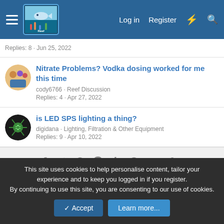Reef Central — Log in | Register
Replies: 8 · Jun 25, 2022
Nitrate Problems? Vodka dosing worked for me this time
cody6766 · Reef Discussion
Replies: 4 · Apr 27, 2022
is LED SPS lighting a thing?
digidana · Lighting, Filtration & Other Equipment
Replies: 9 · Apr 10, 2022
Share:
← Reef Discussion
This site uses cookies to help personalise content, tailor your experience and to keep you logged in if you register.
By continuing to use this site, you are consenting to our use of cookies.
Accept  Learn more...